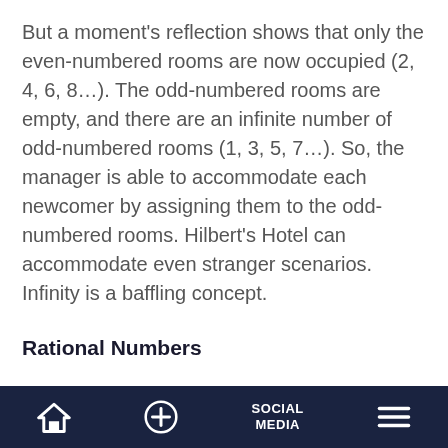But a moment's reflection shows that only the even-numbered rooms are now occupied (2, 4, 6, 8…). The odd-numbered rooms are empty, and there are an infinite number of odd-numbered rooms (1, 3, 5, 7…). So, the manager is able to accommodate each newcomer by assigning them to the odd-numbered rooms. Hilbert's Hotel can accommodate even stranger scenarios. Infinity is a baffling concept.
Rational Numbers
Home | + | SOCIAL MEDIA | Menu